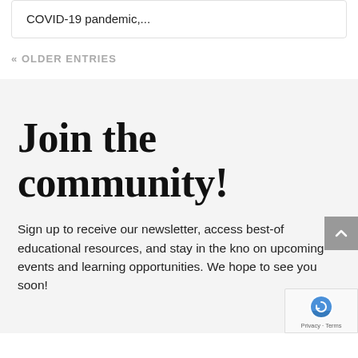COVID-19 pandemic,...
« OLDER ENTRIES
Join the community!
Sign up to receive our newsletter, access best-of educational resources, and stay in the know on upcoming events and learning opportunities. We hope to see you soon!